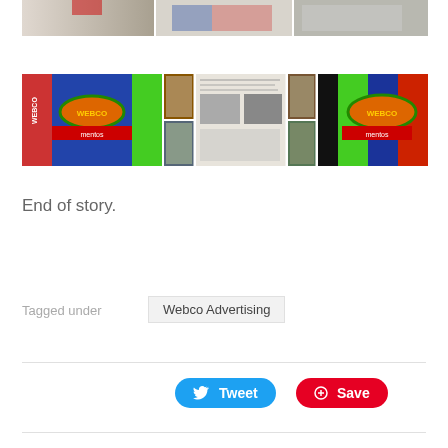[Figure (photo): Three photos of cycling jerseys with Webco and Mentos branding, and an American flag t-shirt]
[Figure (photo): Multiple photos showing Webco Mentos cycling jerseys and cycling race magazine clippings]
End of story.
Tagged under
Webco Advertising
Tweet
Save